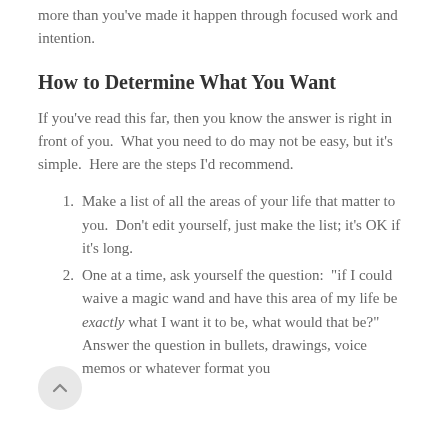more than you've made it happen through focused work and intention.
How to Determine What You Want
If you've read this far, then you know the answer is right in front of you.  What you need to do may not be easy, but it's simple.  Here are the steps I'd recommend.
Make a list of all the areas of your life that matter to you.  Don't edit yourself, just make the list; it's OK if it's long.
One at a time, ask yourself the question:  "if I could waive a magic wand and have this area of my life be exactly what I want it to be, what would that be?"  Answer the question in bullets, drawings, voice memos or whatever format you